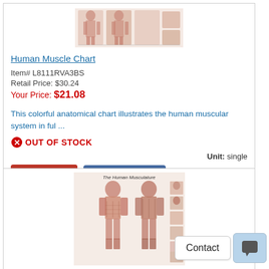[Figure (illustration): Human Muscle Chart product thumbnail showing anatomical muscle diagrams]
Human Muscle Chart
Item# L8111RVA3BS
Retail Price: $30.24
Your Price: $21.08
This colorful anatomical chart illustrates the human muscular system in ful ...
OUT OF STOCK
Unit: single
Learn More
Volume Pricing
[Figure (illustration): The Human Musculature anatomical chart showing front and back views of human muscular system]